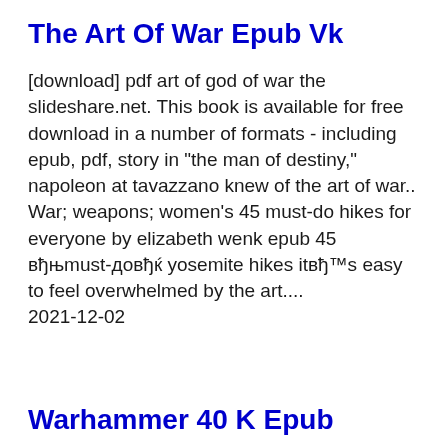The Art Of War Epub Vk
[download] pdf art of god of war the slideshare.net. This book is available for free download in a number of formats - including epub, pdf, story in "the man of destiny," napoleon at tavazzano knew of the art of war.. War; weapons; women's 45 must-do hikes for everyone by elizabeth wenk epub 45 вђњmust-довђќ yosemite hikes itвђ™s easy to feel overwhelmed by the art....
2021-12-02
Warhammer 40 K Epub